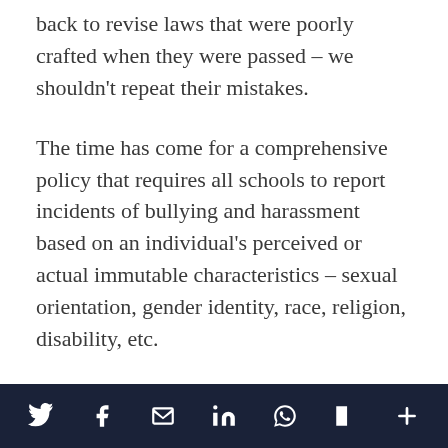back to revise laws that were poorly crafted when they were passed – we shouldn't repeat their mistakes.
The time has come for a comprehensive policy that requires all schools to report incidents of bullying and harassment based on an individual's perceived or actual immutable characteristics – sexual orientation, gender identity, race, religion, disability, etc.
We must send the message to students, faculty and staff that harassment, across the board, is unacceptable.
Social share icons: Twitter, Facebook, Email, LinkedIn, WhatsApp, Flipboard, More